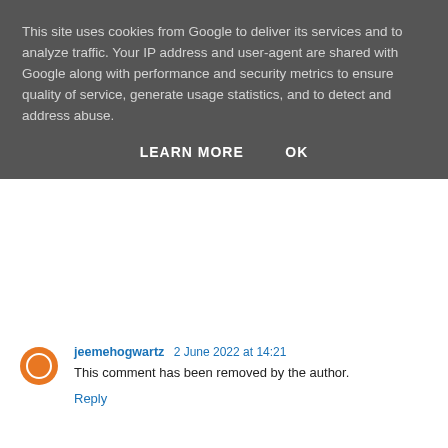This site uses cookies from Google to deliver its services and to analyze traffic. Your IP address and user-agent are shared with Google along with performance and security metrics to ensure quality of service, generate usage statistics, and to detect and address abuse.
LEARN MORE   OK
jeemehogwartz 2 June 2022 at 14:21
This comment has been removed by the author.
Reply
sex honey uae 8 June 2022 at 04:26
A natural aphrodisiac Epimedium Honey dubai that gives you energy and relief from erectile dysfunction and enhances both female arousal and male performance
Reply
Rubina Sudais 17 June 2022 at 06:16